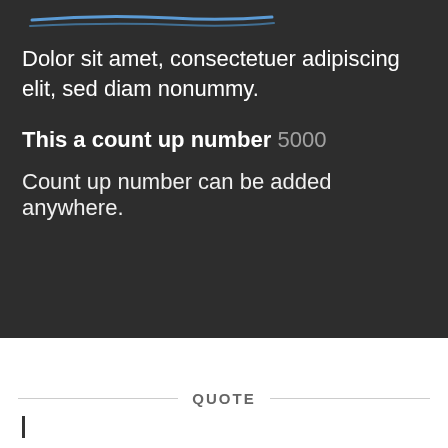[Figure (illustration): Partial view of a decorative title with a blue underline stroke, partially cropped at the top of the dark section]
Dolor sit amet, consectetuer adipiscing elit, sed diam nonummy.
This a count up number 5000
Count up number can be added anywhere.
QUOTE